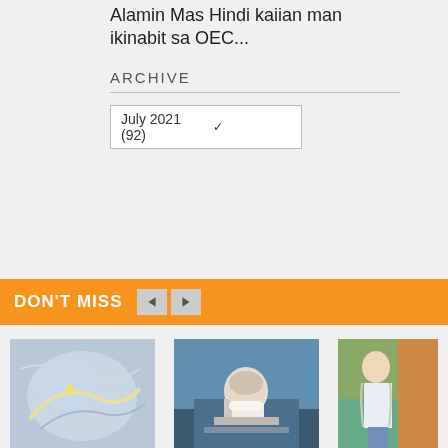Alamin Mas Hindi kaiian man ikinabit sa OEC...
ARCHIVE
July 2021 (92)
DON'T MISS
[Figure (photo): Satellite weather map image showing storm system]
T8 now in force as Ma-on moves closer
[Figure (photo): Person wearing mask at a desk with microphone, official setting]
HK posts 7,884 new Covid-19 cases, 14...
[Figure (photo): Young woman standing outdoors]
Kaaya-ayang kuminis na kut